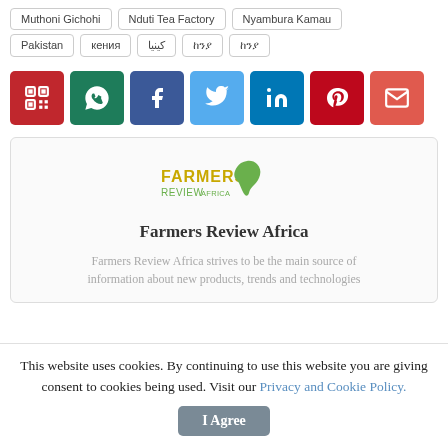Muthoni Gichohi | Nduti Tea Factory | Nyambura Kamau
Pakistan | кения | كينيا | (Amharic script) | (Amharic script)
[Figure (infographic): Social share buttons: QR code (dark red), WhatsApp (dark green), Facebook (dark blue), Twitter (light blue), LinkedIn (blue), Pinterest (dark red), Email (orange-red)]
[Figure (logo): Farmers Review Africa logo with green Africa map silhouette and yellow/green text]
Farmers Review Africa
Farmers Review Africa strives to be the main source of information about new products, trends and technologies
This website uses cookies. By continuing to use this website you are giving consent to cookies being used. Visit our Privacy and Cookie Policy.